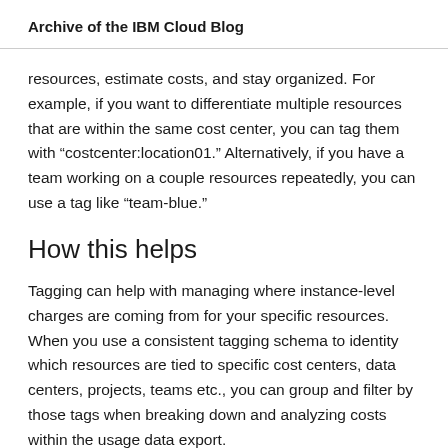Archive of the IBM Cloud Blog
resources, estimate costs, and stay organized. For example, if you want to differentiate multiple resources that are within the same cost center, you can tag them with “costcenter:location01.” Alternatively, if you have a team working on a couple resources repeatedly, you can use a tag like “team-blue.”
How this helps
Tagging can help with managing where instance-level charges are coming from for your specific resources. When you use a consistent tagging schema to identity which resources are tied to specific cost centers, data centers, projects, teams etc., you can group and filter by those tags when breaking down and analyzing costs within the usage data export.